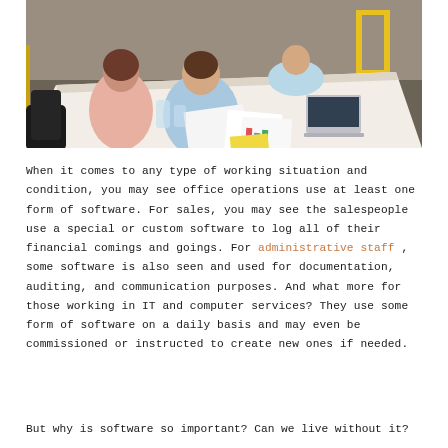[Figure (photo): Office meeting scene: several people seated around a white table with documents, charts, laptops and glasses of water. One person in a pink top, another in a blue shirt facing away, a third person in a light blue outfit. Yellow shelving visible in background.]
When it comes to any type of working situation and condition, you may see office operations use at least one form of software. For sales, you may see the salespeople use a special or custom software to log all of their financial comings and goings. For administrative staff , some software is also seen and used for documentation, auditing, and communication purposes. And what more for those working in IT and computer services? They use some form of software on a daily basis and may even be commissioned or instructed to create new ones if needed.
But why is software so important? Can we live without it?